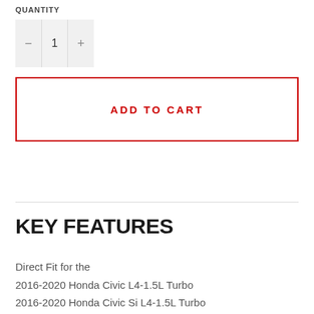QUANTITY
1
ADD TO CART
KEY FEATURES
Direct Fit for the
2016-2020 Honda Civic L4-1.5L Turbo
2016-2020 Honda Civic Si L4-1.5L Turbo